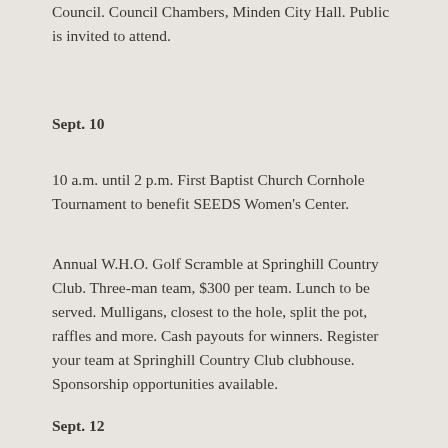Council. Council Chambers, Minden City Hall. Public is invited to attend.
Sept. 10
10 a.m. until 2 p.m. First Baptist Church Cornhole Tournament to benefit SEEDS Women's Center.
Annual W.H.O. Golf Scramble at Springhill Country Club. Three-man team, $300 per team. Lunch to be served. Mulligans, closest to the hole, split the pot, raffles and more. Cash payouts for winners. Register your team at Springhill Country Club clubhouse. Sponsorship opportunities available.
Sept. 12